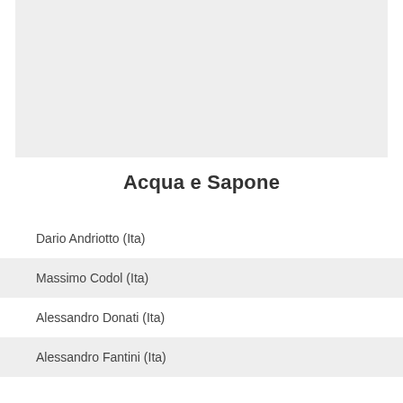[Figure (other): Gray rectangular image placeholder at the top of the page]
Acqua e Sapone
Dario Andriotto (Ita)
Massimo Codol (Ita)
Alessandro Donati (Ita)
Alessandro Fantini (Ita)